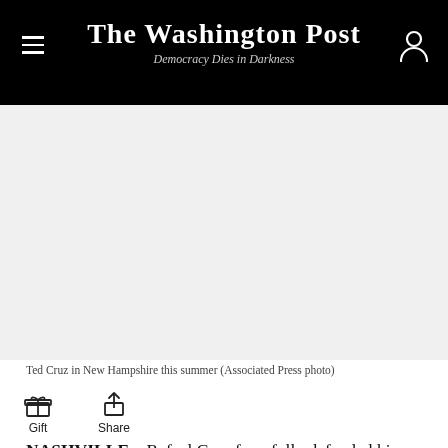The Washington Post — Democracy Dies in Darkness
[Figure (photo): Photo of Ted Cruz in New Hampshire this summer (Associated Press photo) — image area appears blank/white in this rendering]
Ted Cruz in New Hampshire this summer (Associated Press photo)
Gift   Share
NASHVILLE—Rafael Cruz forcefully defended his Canadian-born son's Constitutional eligibility to become president during a prayer breakfast over the weekend.